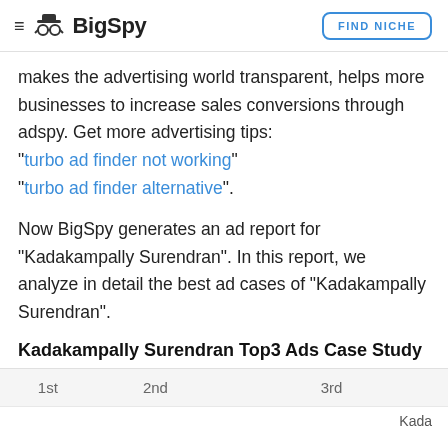BigSpy | FIND NICHE
makes the advertising world transparent, helps more businesses to increase sales conversions through adspy. Get more advertising tips: "turbo ad finder not working" "turbo ad finder alternative".
Now BigSpy generates an ad report for "Kadakampally Surendran". In this report, we analyze in detail the best ad cases of "Kadakampally Surendran".
Kadakampally Surendran Top3 Ads Case Study
| 1st | 2nd | 3rd |
| --- | --- | --- |
|  |  | Kada |
Kada